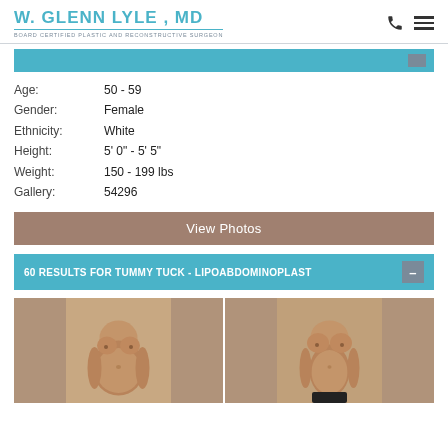W. GLENN LYLE , MD
BOARD CERTIFIED PLASTIC AND RECONSTRUCTIVE SURGEON
Age: 50 - 59
Gender: Female
Ethnicity: White
Height: 5' 0" - 5' 5"
Weight: 150 - 199 lbs
Gallery: 54296
View Photos
60 RESULTS FOR TUMMY TUCK - LIPOABDOMINOPLASTY
[Figure (photo): Before and after photos of a female patient who underwent tummy tuck lipoabdominoplasty procedure. Left image shows the before state with a larger abdomen, right image shows the after result with a flatter midsection.]